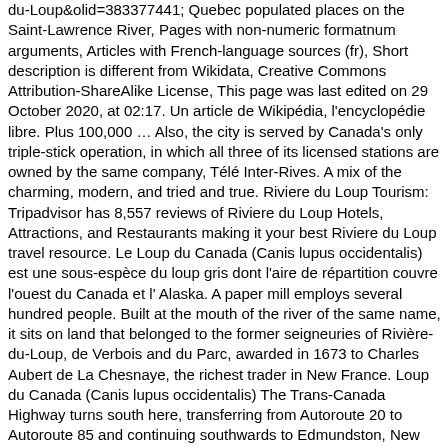du-Loup&olid=383377441; Quebec populated places on the Saint-Lawrence River, Pages with non-numeric formatnum arguments, Articles with French-language sources (fr), Short description is different from Wikidata, Creative Commons Attribution-ShareAlike License, This page was last edited on 29 October 2020, at 02:17. Un article de Wikipédia, l'encyclopédie libre. Plus 100,000 … Also, the city is served by Canada's only triple-stick operation, in which all three of its licensed stations are owned by the same company, Télé Inter-Rives. A mix of the charming, modern, and tried and true. Riviere du Loup Tourism: Tripadvisor has 8,557 reviews of Riviere du Loup Hotels, Attractions, and Restaurants making it your best Riviere du Loup travel resource. Le Loup du Canada (Canis lupus occidentalis) est une sous-espèce du loup gris dont l'aire de répartition couvre l'ouest du Canada et l' Alaska. A paper mill employs several hundred people. Built at the mouth of the river of the same name, it sits on land that belonged to the former seigneuries of Rivière-du-Loup, de Verbois and du Parc, awarded in 1673 to Charles Aubert de La Chesnaye, the richest trader in New France. Loup du Canada (Canis lupus occidentalis) The Trans-Canada Highway turns south here, transferring from Autoroute 20 to Autoroute 85 and continuing southwards to Edmundston, New Brunswick. This is the version of our website addressed to speakers of English in the United States. Stream live CNN, FOX News Radio, and MSNBC. Le Loup du Canada (Canis lupus occidentalis) est une sous-espèce du